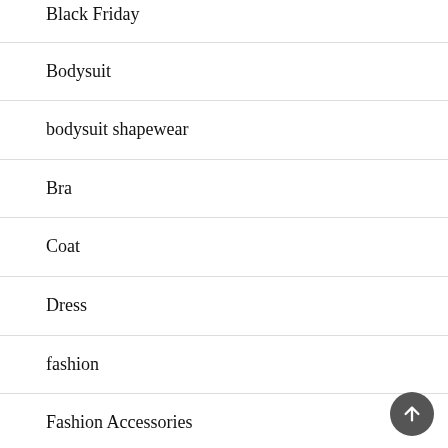Black Friday
Bodysuit
bodysuit shapewear
Bra
Coat
Dress
fashion
Fashion Accessories